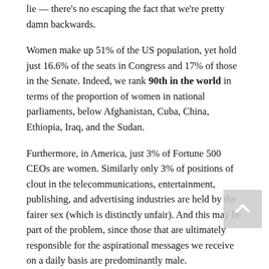lie — there's no escaping the fact that we're pretty damn backwards.
Women make up 51% of the US population, yet hold just 16.6% of the seats in Congress and 17% of those in the Senate. Indeed, we rank 90th in the world in terms of the proportion of women in national parliaments, below Afghanistan, Cuba, China, Ethiopia, Iraq, and the Sudan.
Furthermore, in America, just 3% of Fortune 500 CEOs are women. Similarly only 3% of positions of clout in the telecommunications, entertainment, publishing, and advertising industries are held by the fairer sex (which is distinctly unfair). And this may be part of the problem, since those that are ultimately responsible for the aspirational messages we receive on a daily basis are predominantly male.
That's not to say that the innate sexism that's partly responsible for this power imbalance is necessarily malevolent or even intentional; the root of much of it is simply a lack of consciousness on all our parts. And